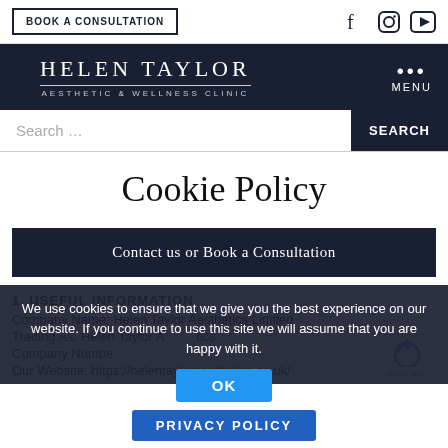BOOK A CONSULTATION
[Figure (screenshot): Helen Taylor Aesthetic & Wellness Clinic logo on dark navy background with menu dots]
Search …
Cookie Policy
Contact us or Book a Consultation
1. USEFUL INFORMATION
Company Name: Helen Taylor Aesthetics Limited
Trading As: Helen Taylor Aesthetics
Company Number:
Our Website: https://helentayloraesthetics.co.uk/
We use cookies to ensure that we give you the best experience on our website. If you continue to use this site we will assume that you are happy with it.
OK
PRIVACY POLICY